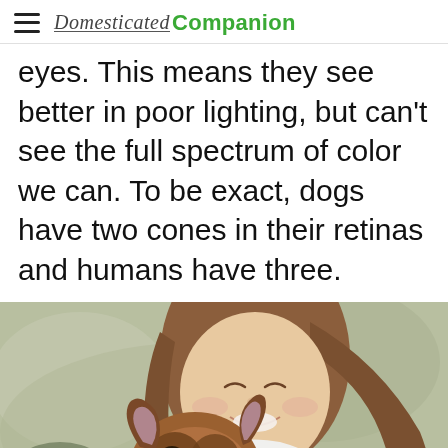Domesticated Companion
eyes. This means they see better in poor lighting, but can't see the full spectrum of color we can. To be exact, dogs have two cones in their retinas and humans have three.
[Figure (photo): A smiling young woman with long brown hair cuddling a French bulldog puppy. The dog has its tongue out and is looking up at the camera. Background is an outdoor blurred green/gray park scene.]